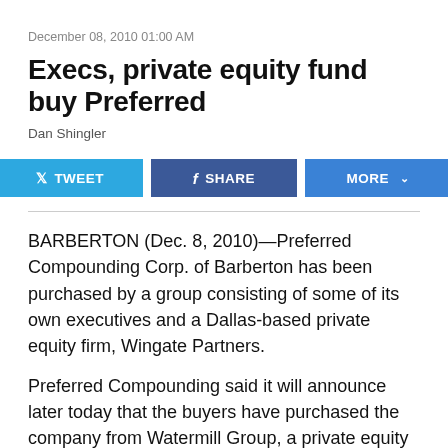December 08, 2010 01:00 AM
Execs, private equity fund buy Preferred
Dan Shingler
[Figure (other): Social sharing buttons: TWEET, SHARE, MORE]
BARBERTON (Dec. 8, 2010)—Preferred Compounding Corp. of Barberton has been purchased by a group consisting of some of its own executives and a Dallas-based private equity firm, Wingate Partners.
Preferred Compounding said it will announce later today that the buyers have purchased the company from Watermill Group, a private equity firm in Lexington, Mass. Preferred Compounding produces custom rubber compounds for molders, extruders and